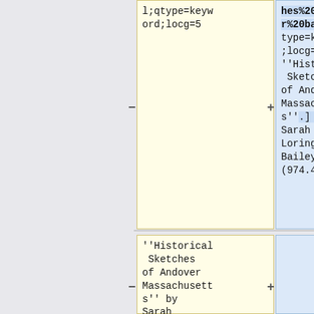l;qtype=keyword;locg=5
hes%20andover%20bailey;qtype=keyword;locg=5 ''Historical Sketches of Andover, Massachusetts''.[.] by Sarah Loring Bailey (974.45 Bai)
''Historical Sketches of Andover Massachusetts'' by Sarah Loring Bailey,